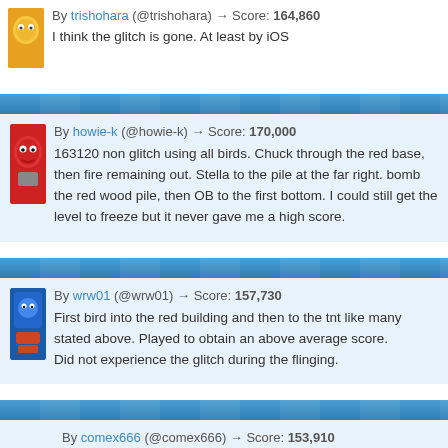By trishohara (@trishohara) → Score: 164,860
I think the glitch is gone. At least by iOS
By howie-k (@howie-k) → Score: 170,000
163120 non glitch using all birds. Chuck through the red base, then fire remaining out. Stella to the pile at the far right. bomb the red wood pile, then OB to the first bottom. I could still get the level to freeze but it never gave me a high score.
By wrw01 (@wrw01) → Score: 157,730
First bird into the red building and then to the tnt like many stated above. Played to obtain an above average score.
Did not experience the glitch during the flinging.
By comex666 (@comex666) → Score: 153,910
153910/1